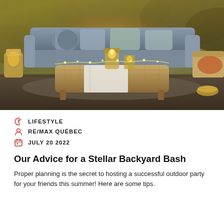[Figure (photo): Outdoor patio scene with a wicker coffee table holding candle lanterns and string lights, surrounded by a sectional sofa with grey and blue cushions. Warm evening lighting with greenery in the background.]
LIFESTYLE
RE/MAX QUÉBEC
JULY 20 2022
Our Advice for a Stellar Backyard Bash
Proper planning is the secret to hosting a successful outdoor party for your friends this summer! Here are some tips.